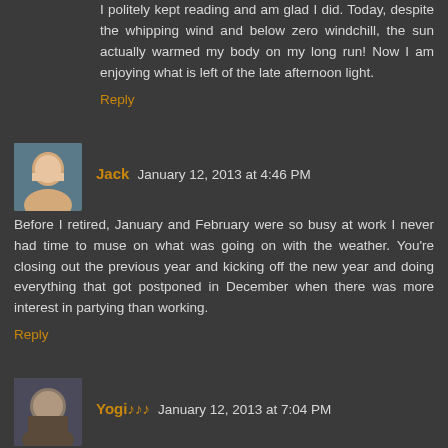I politely kept reading and am glad I did. Today, despite the whipping wind and below zero windchill, the sun actually warmed my body on my long run! Now I am enjoying what is left of the late afternoon light.
Reply
Jack  January 12, 2013 at 4:46 PM
Before I retired, January and February were so busy at work I never had time to muse on what was going on with the weather. You're closing out the previous year and kicking off the new year and doing everything that got postponed in December when there was more interest in partying than working.
Reply
Yogi♪♪♪  January 12, 2013 at 7:04 PM
I've heard from more than one person who lives in the northland that you have to have a plan for the winter. Some of them drink all winter. Your plans are definitely better than